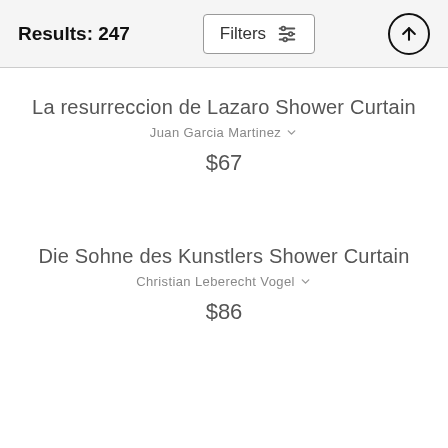Results: 247
La resurreccion de Lazaro Shower Curtain
Juan Garcia Martinez
$67
Die Sohne des Kunstlers Shower Curtain
Christian Leberecht Vogel
$86